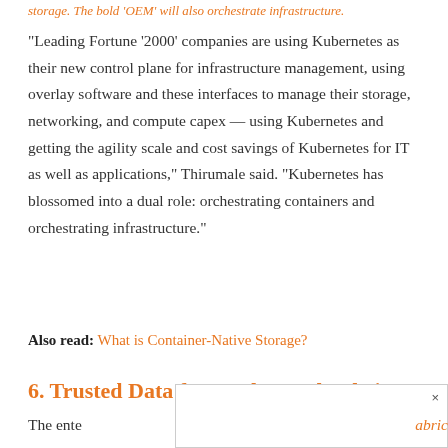storage. The bold 'OEM' will also orchestrate infrastructure.
“Leading Fortune ‘2000’ companies are using Kubernetes as their new control plane for infrastructure management, using overlay software and these interfaces to manage their storage, networking, and compute capex — using Kubernetes and getting the agility scale and cost savings of Kubernetes for IT as well as applications,” Thirumale said. “Kubernetes has blossomed into a dual role: orchestrating containers and orchestrating infrastructure.”
Also read: What is Container-Native Storage?
6. Trusted Data for Meshes and Fabrics
The ente